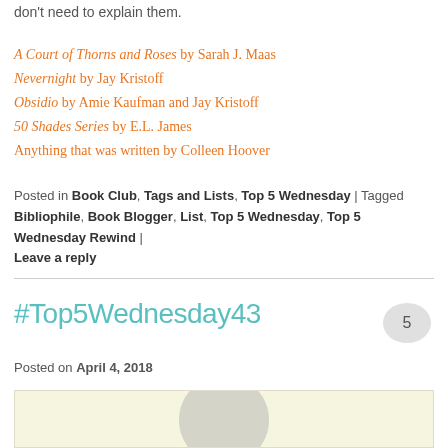don't need to explain them.
A Court of Thorns and Roses by Sarah J. Maas
Nevernight by Jay Kristoff
Obsidio by Amie Kaufman and Jay Kristoff
50 Shades Series by E.L. James
Anything that was written by Colleen Hoover
Posted in Book Club, Tags and Lists, Top 5 Wednesday | Tagged Bibliophile, Book Blogger, List, Top 5 Wednesday, Top 5 Wednesday Rewind | Leave a reply
#Top5Wednesday43
Posted on April 4, 2018
[Figure (illustration): Thumbnail image showing a grey avatar silhouette on a pale yellow background]